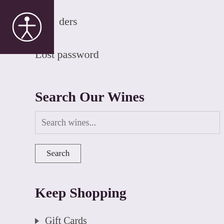[Figure (logo): Accessibility icon: white person figure in a circle on dark purple background, top-left corner]
ders
Lost password
Search Our Wines
Search wines...
Search
Keep Shopping
Gift Cards